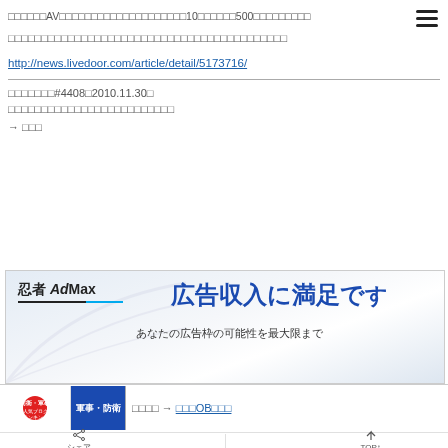□□□□□□AV□□□□□□□□□□□□□□□□□□□□10□□□□□□500□□□□□□□□□
□□□□□□□□□□□□□□□□□□□□□□□□□□□□□□□□□□□□□□□□□□
http://news.livedoor.com/article/detail/5173716/
□□□□□□□#4408□2010.11.30□
□□□□□□□□□□□□□□□□□□□□□□□□□
→ □□□
[Figure (screenshot): 忍者AdMax advertisement banner showing '広告収入に満足で' and 'あなたの広告枠の可能性を最大限まで']
[Figure (screenshot): Bottom banner with military/defense blog ranking badge and link to military OB blog]
シェア TOP↑